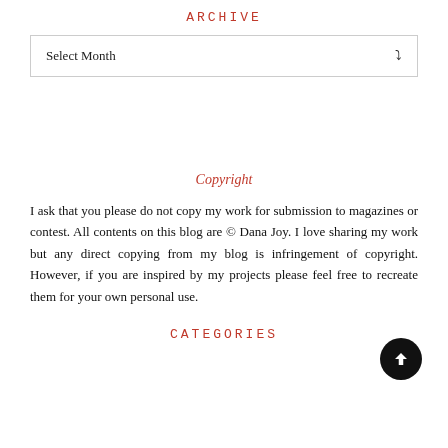ARCHIVE
Select Month
Copyright
I ask that you please do not copy my work for submission to magazines or contest. All contents on this blog are © Dana Joy. I love sharing my work but any direct copying from my blog is infringement of copyright. However, if you are inspired by my projects please feel free to recreate them for your own personal use.
CATEGORIES